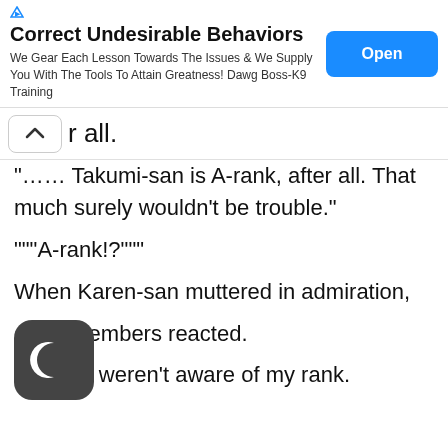[Figure (screenshot): Advertisement banner: 'Correct Undesirable Behaviors' with Open button]
r all.
"…… Takumi-san is A-rank, after all. That much surely wouldn't be trouble."
"""A-rank!?"""
When Karen-san muttered in admiration, other members reacted.
You they weren't aware of my rank.